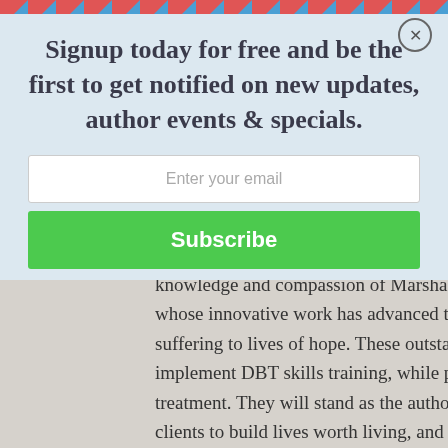[Figure (other): Diagonal red and blue stripe border at the top of a modal signup overlay]
Signup today for free and be the first to get notified on new updates, author events & specials.
Enter your email
Subscribe
knowledge and compassion of Marsha Linehan--an exceptional researcher and clinician whose innovative work has advanced the field and shifted many individuals from lives of suffering to lives of hope. These outstanding second editions offer guidance on how to implement DBT skills training, while providing the tools needed to deliver this state-of-the-art treatment. They will stand as the authoritative guides for teaching DBT skills, partnering with clients to build lives worth living, and helping us to